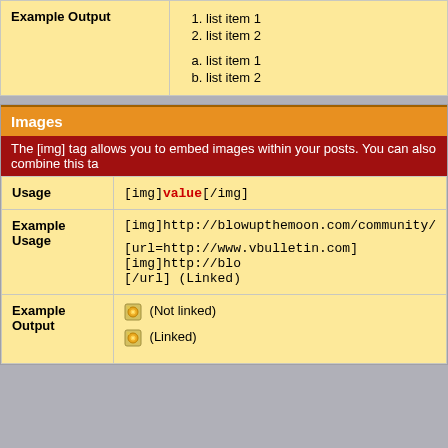| Example Output | 1. list item 1
2. list item 2
a. list item 1
b. list item 2 |
Images
The [img] tag allows you to embed images within your posts. You can also combine this ta
| Usage | [img]value[/img] |
| Example Usage | [img]http://blowupthemoon.com/community/

[url=http://www.vbulletin.com] [img]http://blo[/img] [/url] (Linked) |
| Example Output | (Not linked)
(Linked) |